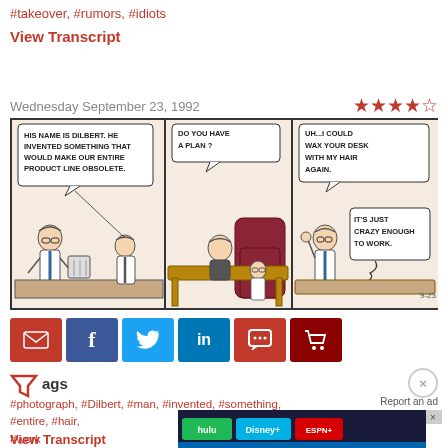#takeover, #rumors, #idiots
View Transcript
Wednesday September 23, 1992
[Figure (illustration): Dilbert comic strip from Wednesday September 23, 1992. Three panels: Panel 1: A man says 'HIS NAME IS DILBERT. HE INVENTED SOMETHING THAT WOULD MAKE OUR ENTIRE PRODUCT LINE OBSOLETE.' Panel 2: A boss at a desk asks 'DO YOU HAVE A PLAN?' Panel 3: Dilbert replies 'UH...I COULD WAX YOUR DESK WITH MY HAIR AGAIN.' Caption: 'IT'S JUST CRAZY ENOUGH TO WORK.']
[Figure (infographic): Social sharing buttons: email (red), Facebook (blue), Twitter (light blue), LinkedIn (dark blue), comment (red), cart (dark red)]
[Figure (other): Filter/funnel icon followed by Tags label]
Tags
#photograph, #Dilbert, #man, #invented, #something, #entire, #hair, #work
[Figure (other): GET THE DISNEY BUNDLE advertisement with Hulu, Disney+, ESPN+ logos. Incl. Hulu (ad-supported) or Hulu (No Ads). Access content from each service separately. ©2021 Disney and its related entities]
View Transcript